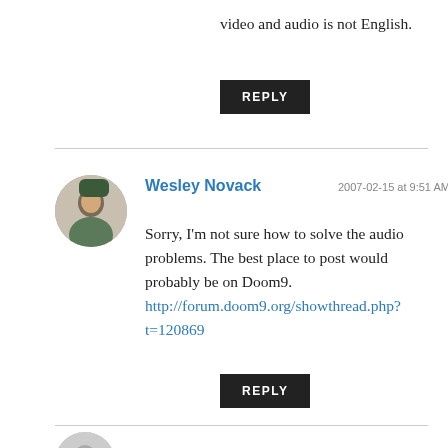video and audio is not English.
REPLY
Wesley Novack 2007-02-15 at 9:51 AM
Sorry, I'm not sure how to solve the audio problems. The best place to post would probably be on Doom9. http://forum.doom9.org/showthread.php?t=120869
REPLY